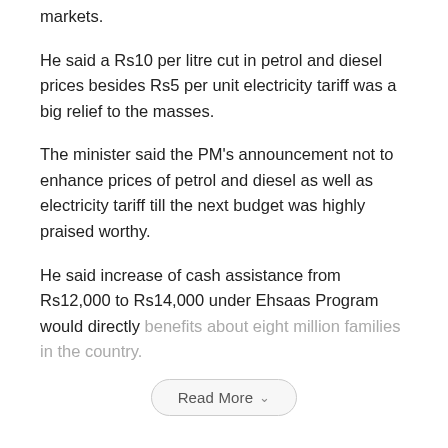markets.
He said a Rs10 per litre cut in petrol and diesel prices besides Rs5 per unit electricity tariff was a big relief to the masses.
The minister said the PM’s announcement not to enhance prices of petrol and diesel as well as electricity tariff till the next budget was highly praised worthy.
He said increase of cash assistance from Rs12,000 to Rs14,000 under Ehsaas Program would directly benefits about eight million families in the country.
Read More
Submit a Comment